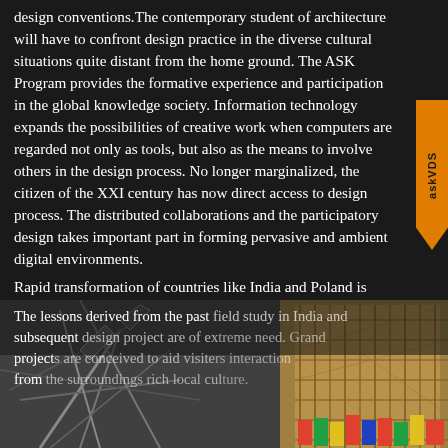design conventions.The contemporary student of architecture will have to confront design practice in the diverse cultural situations quite distant from the home ground. The ASK Program provides the formative experience and participation in the global knowledge society. Information technology expands the possibilities of creative work when computers are regarded not only as tools, but also as the means to involve others in the design process. No longer marginalized, the citizen of the XXI century has now direct access to design process. The distributed collaborations and the participatory design takes important part in forming pervasive and ambient digital environments.
Rapid transformation of countries like India and Poland is often seen as a positive aspect of globalization. While the expansion of social ties across the planet should lead to rich and complex connectivity this process is not yet very balanced and cultural colonialism is rampant. The one sided nature of global cultural exchanges deserves much more scrutiny and the adage „think globally, act locally" reminds of ideal condition needed to confront cultural globalization.
[Figure (photo): Bottom portion of page showing architectural structures — left side shows a dark geometric structure/sculpture, right side shows a building with scaffolding or lattice facade with colorful elements. Text overlay reads: The lessons derived from the past field study in India and subsequent design project are of extreme need. Grand projects are conceived to aid visitors interaction from the surroundings rich local culture.]